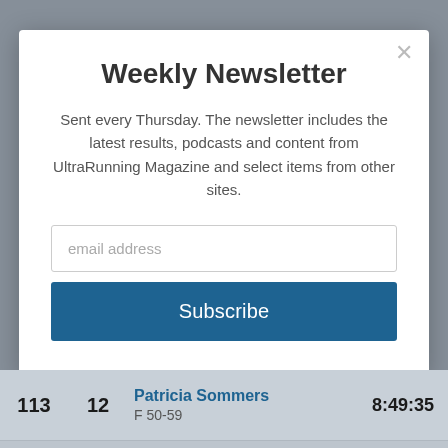Weekly Newsletter
Sent every Thursday. The newsletter includes the latest results, podcasts and content from UltraRunning Magazine and select items from other sites.
[Figure (screenshot): Email address input field with placeholder text 'email address']
[Figure (screenshot): Subscribe button in dark blue]
| Rank | Bib | Name / Category | Time |
| --- | --- | --- | --- |
| 113 | 12 | Patricia Sommers
F 50-59 | 8:49:35 |
| 114 | 102 | Jim Moulton
M 50-59 | 8:50:24 |
| 115 | 102 | Kevin Kelly
... | ... |